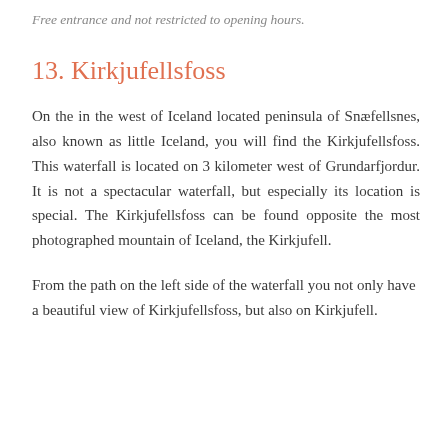Free entrance and not restricted to opening hours.
13. Kirkjufellsfoss
On the in the west of Iceland located peninsula of Snæfellsnes, also known as little Iceland, you will find the Kirkjufellsfoss. This waterfall is located on 3 kilometer west of Grundarfjordur. It is not a spectacular waterfall, but especially its location is special. The Kirkjufellsfoss can be found opposite the most photographed mountain of Iceland, the Kirkjufell.
From the path on the left side of the waterfall you not only have a beautiful view of Kirkjufellsfoss, but also on Kirkjufell.